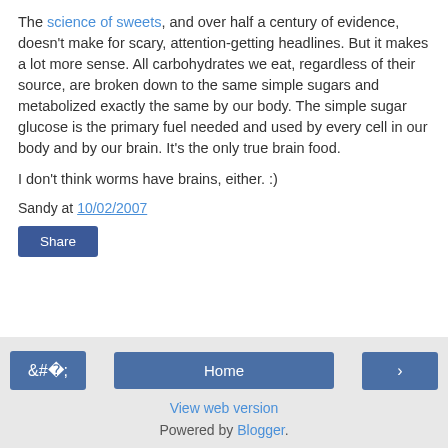The science of sweets, and over half a century of evidence, doesn't make for scary, attention-getting headlines. But it makes a lot more sense. All carbohydrates we eat, regardless of their source, are broken down to the same simple sugars and metabolized exactly the same by our body. The simple sugar glucose is the primary fuel needed and used by every cell in our body and by our brain. It's the only true brain food.
I don't think worms have brains, either. :)
Sandy at 10/02/2007
Share
◁  Home  ▷  View web version  Powered by Blogger.